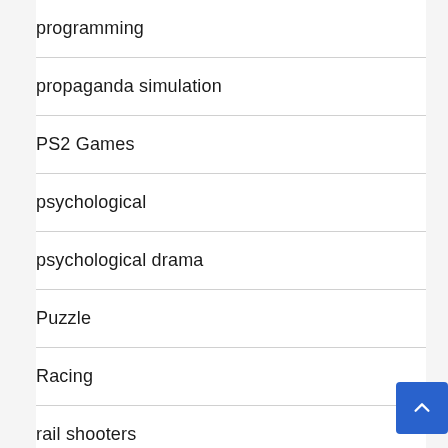programming
propaganda simulation
PS2 Games
psychological
psychological drama
Puzzle
Racing
rail shooters
Real time tactics